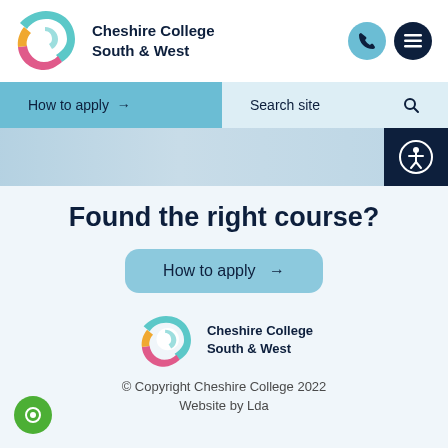[Figure (logo): Cheshire College South & West swirl C logo in header]
Cheshire College
South & West
[Figure (logo): Phone icon circle and menu icon circle in header]
How to apply →
Search site 🔍
Found the right course?
How to apply →
[Figure (logo): Cheshire College South & West footer logo with swirl C]
© Copyright Cheshire College 2022
Website by Lda